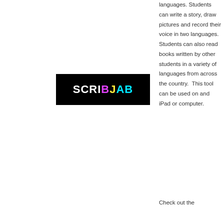languages. Students can write a story, draw pictures and record their voice in two languages. Students can also read books written by other students in a variety of languages from across the country.  This tool can be used on and iPad or computer.
[Figure (logo): ScribJab logo: black background with white 'SCRI', purple 'B', yellow 'J', cyan 'AB' text]
Check out the